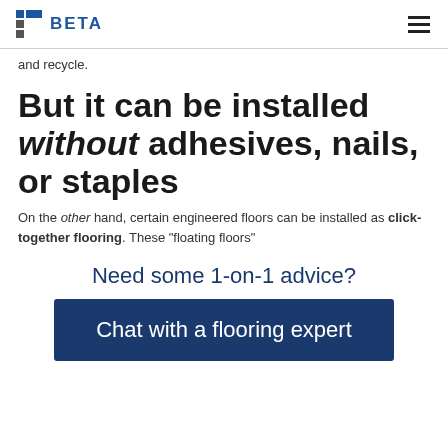BETA
and recycle.
But it can be installed without adhesives, nails, or staples
On the other hand, certain engineered floors can be installed as click-together flooring. These “floating floors”
Need some 1-on-1 advice?
Chat with a flooring expert